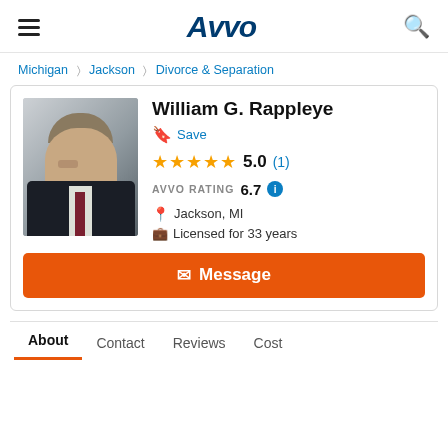Avvo
Michigan > Jackson > Divorce & Separation
William G. Rappleye
Save
★★★★★ 5.0 (1)
AVVO RATING 6.7
Jackson, MI
Licensed for 33 years
Message
About  Contact  Reviews  Cost